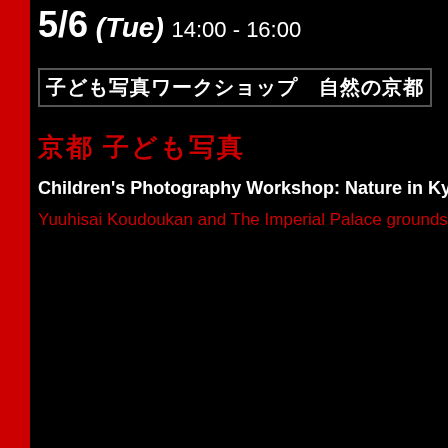5/6 (Tue) 14:00 - 16:00
子ども写真ワークショップ　自然の京都
京都 子ども写真
Children's Photography Workshop: Nature in Kyoto
Yuuhisai Koudoukan and The Imperial Palace grounds...